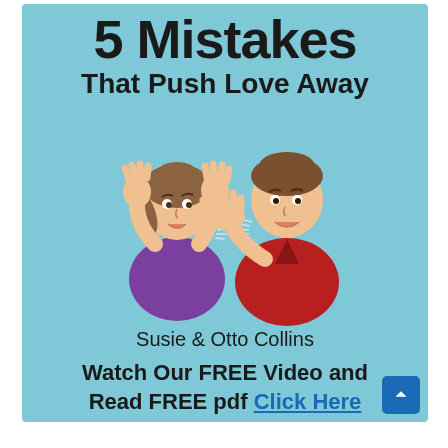[Figure (illustration): Book cover with light blue background. Large bold text at top: '5 Mistakes That Push Love Away'. Illustration of a woman (purple top, hair in ponytail, hands raised near face) and a man (red top, brown hair, gesturing with one hand) facing each other arguing, with motion lines between their mouths suggesting shouting. Below: 'Susie & Otto Collins'. Call to action: 'Watch Our FREE Video and Read FREE pdf Click Here'. Blue scroll-to-top button at bottom right.]